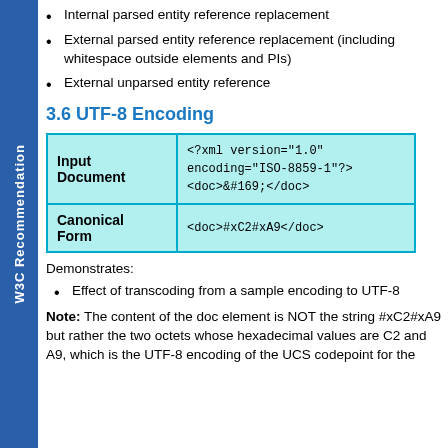W3C Recommendation
Internal parsed entity reference replacement
External parsed entity reference replacement (including whitespace outside elements and PIs)
External unparsed entity reference
3.6 UTF-8 Encoding
|  |  |
| --- | --- |
| Input Document | <?xml version="1.0" encoding="ISO-8859-1"?>
<doc>&#169;</doc> |
| Canonical Form | <doc>#xC2#xA9</doc> |
Demonstrates:
Effect of transcoding from a sample encoding to UTF-8
Note: The content of the doc element is NOT the string #xC2#xA9 but rather the two octets whose hexadecimal values are C2 and A9, which is the UTF-8 encoding of the UCS codepoint for the